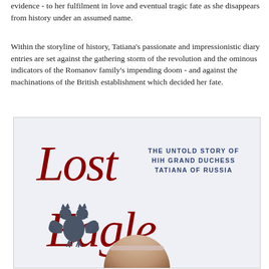evidence - to her fulfilment in love and eventual tragic fate as she disappears from history under an assumed name.
Within the storyline of history, Tatiana's passionate and impressionistic diary entries are set against the gathering storm of the revolution and the ominous indicators of the Romanov family's impending doom - and against the machinations of the British establishment which decided her fate.
[Figure (illustration): Book cover of 'Lost Eagle: The Untold Story of HIH Grand Duchess Tatiana of Russia'. Features large red italic script text 'Lost Eagle', a dark blue/grey double-headed Russian imperial eagle emblem on the left, subtitle text in navy blue capitals on the right reading 'THE UNTOLD STORY OF HIH GRAND DUCHESS TATIANA OF RUSSIA', and a partial portrait photograph at the bottom showing a head with a ribbon.]